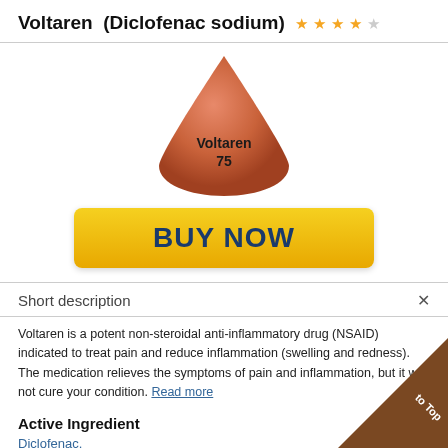Voltaren (Diclofenac sodium) ★★★★☆
[Figure (photo): Orange triangular Voltaren 75 pill]
[Figure (other): Yellow BUY NOW button]
Short description
Voltaren is a potent non-steroidal anti-inflammatory drug (NSAID) indicated to treat pain and reduce inflammation (swelling and redness). The medication relieves the symptoms of pain and inflammation, but it will not cure your condition. Read more
Active Ingredient
Diclofenac.
Other names for this medication